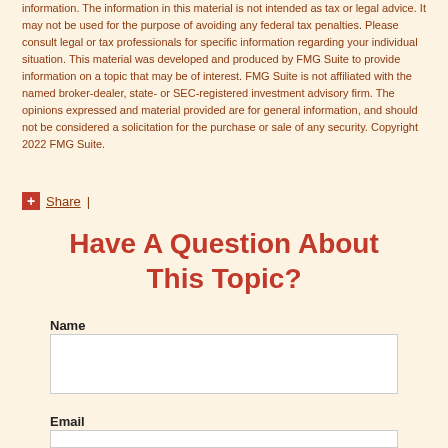information. The information in this material is not intended as tax or legal advice. It may not be used for the purpose of avoiding any federal tax penalties. Please consult legal or tax professionals for specific information regarding your individual situation. This material was developed and produced by FMG Suite to provide information on a topic that may be of interest. FMG Suite is not affiliated with the named broker-dealer, state- or SEC-registered investment advisory firm. The opinions expressed and material provided are for general information, and should not be considered a solicitation for the purchase or sale of any security. Copyright 2022 FMG Suite.
Share |
Have A Question About This Topic?
Name
Email